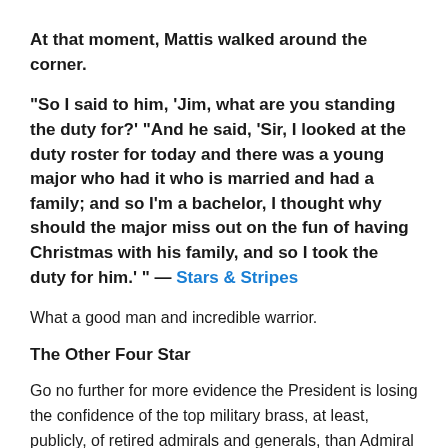At that moment, Mattis walked around the corner.
“So I said to him, ‘Jim, what are you standing the duty for?’ “And he said, ‘Sir, I looked at the duty roster for today and there was a young major who had it who is married and had a family; and so I’m a bachelor, I thought why should the major miss out on the fun of having Christmas with his family, and so I took the duty for him.’ ”  — Stars & Stripes
What a good man and incredible warrior.
The Other Four Star
Go no further for more evidence the President is losing the confidence of the top military brass, at least, publicly, of retired admirals and generals, than Admiral McCraven’s